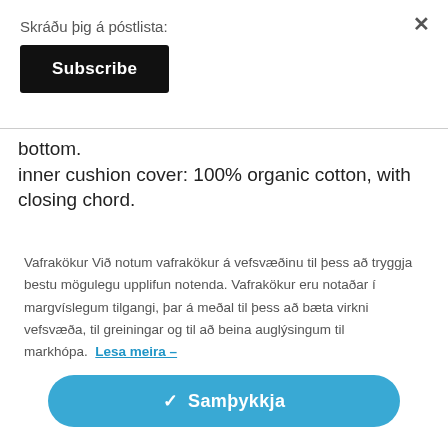Skráðu þig á póstlista:
Subscribe
bottom.
inner cushion cover: 100% organic cotton, with closing chord.
Vafrakökur Við notum vafrakökur á vefsvæðinu til þess að tryggja bestu mögulegu upplifun notenda. Vafrakökur eru notaðar í margvíslegum tilgangi, þar á meðal til þess að bæta virkni vefsvæða, til greiningar og til að beina auglýsingum til markhópa. Lesa meira →
✓ Samþykkja